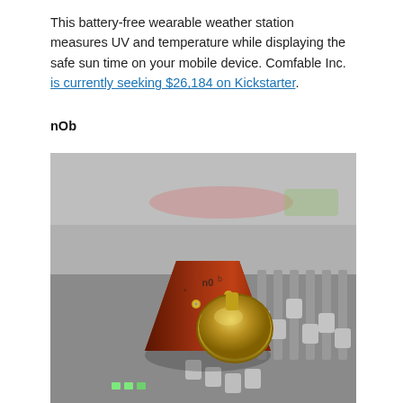This battery-free wearable weather station measures UV and temperature while displaying the safe sun time on your mobile device. Comfable Inc. is currently seeking $26,184 on Kickstarter.
nOb
[Figure (photo): A wooden triangular-shaped knob controller with a gold metal knob and screws, sitting on an audio mixing console with faders and green buttons visible.]